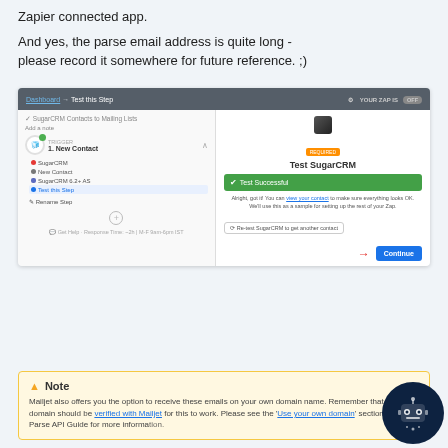Zapier connected app.

And yes, the parse email address is quite long - please record it somewhere for future reference. ;)
[Figure (screenshot): Zapier interface screenshot showing SugarCRM Test this Step panel with Test Successful result and Continue button highlighted by red arrow]
Note
Mailjet also offers you the option to receive these emails on your own domain name. Remember that the domain should be verified with Mailjet for this to work. Please see the 'Use your own domain' section in our Parse API Guide for more information.